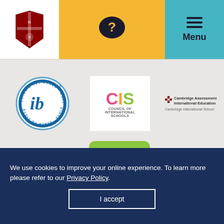[Figure (logo): Regents school coat of arms logo]
[Figure (logo): Question mark speech bubble icon on yellow background]
[Figure (logo): Hamburger menu icon with Menu text on teal background]
[Figure (logo): IB World School circular logo]
[Figure (logo): CIS Council of International Schools logo]
[Figure (logo): Cambridge Assessment International Education Cambridge International School logo]
[Figure (logo): Edexcel logo with grid dots]
[Figure (logo): IPC International Primary Curriculum logo on green background]
[Figure (logo): BSA Boarding Schools Association logo]
We use cookies to improve your online experience. To learn more please refer to our Privacy Policy.
I accept